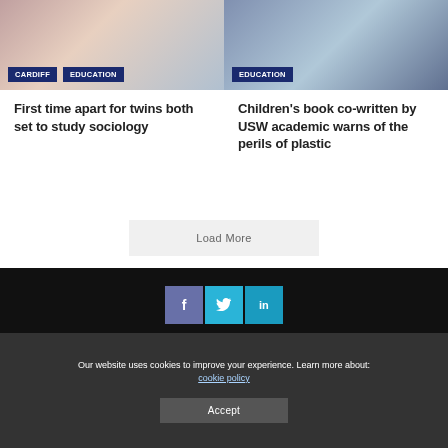[Figure (photo): Two young women holding papers, likely students]
[Figure (photo): Person holding books or documents]
First time apart for twins both set to study sociology
Children's book co-written by USW academic warns of the perils of plastic
Load More
[Figure (infographic): Social media icons: Facebook, Twitter, LinkedIn]
About   Advertise   Privacy   Corrections   Contact
Our website uses cookies to improve your experience. Learn more about: cookie policy
Accept